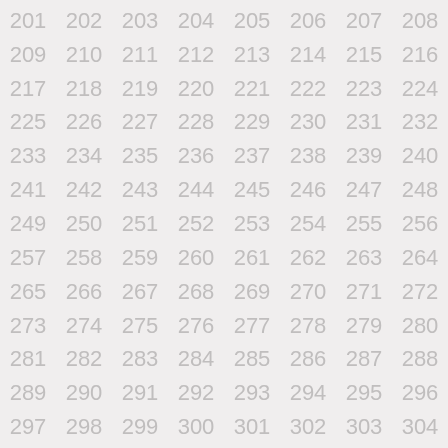201 202 203 204 205 206 207 208 (partial, cut off at top)
209 210 211 212 213 214 215 216
217 218 219 220 221 222 223 224
225 226 227 228 229 230 231 232
233 234 235 236 237 238 239 240
241 242 243 244 245 246 247 248
249 250 251 252 253 254 255 256
257 258 259 260 261 262 263 264
265 266 267 268 269 270 271 272
273 274 275 276 277 278 279 280
281 282 283 284 285 286 287 288
289 290 291 292 293 294 295 296
297 298 299 300 301 302 303 304